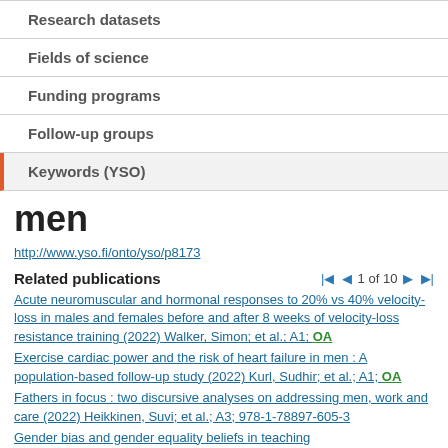Research datasets
Fields of science
Funding programs
Follow-up groups
Keywords (YSO)
men
http://www.yso.fi/onto/yso/p8173
Related publications
1 of 10
Acute neuromuscular and hormonal responses to 20% vs 40% velocity-loss in males and females before and after 8 weeks of velocity-loss resistance training (2022) Walker, Simon; et al.; A1; OA
Exercise cardiac power and the risk of heart failure in men : A population-based follow-up study (2022) Kurl, Sudhir; et al.; A1; OA
Fathers in focus : two discursive analyses on addressing men, work and care (2022) Heikkinen, Suvi; et al.; A3; 978-1-78897-605-3
Gender bias and gender equality beliefs in teaching